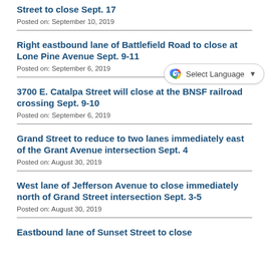Street to close Sept. 17
Posted on: September 10, 2019
Right eastbound lane of Battlefield Road to close at Lone Pine Avenue Sept. 9-11
Posted on: September 6, 2019
3700 E. Catalpa Street will close at the BNSF railroad crossing Sept. 9-10
Posted on: September 6, 2019
Grand Street to reduce to two lanes immediately east of the Grant Avenue intersection Sept. 4
Posted on: August 30, 2019
West lane of Jefferson Avenue to close immediately north of Grand Street intersection Sept. 3-5
Posted on: August 30, 2019
Eastbound lane of Sunset Street to close